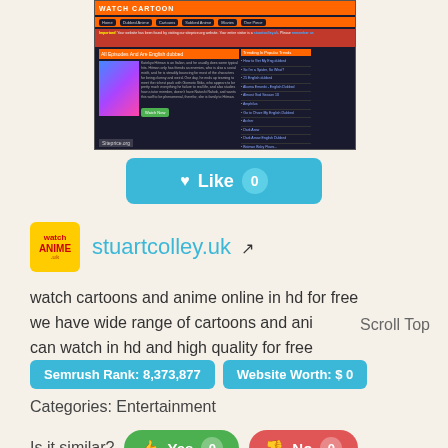[Figure (screenshot): Screenshot of WatchCartoon website with orange navigation bar, dark background, anime content listings, and sidebar showing popular titles. Siteprice.org watermark visible.]
♥ Like 0
[Figure (logo): Site icon with yellow background showing watch anime logo]
stuartcolley.uk ↗
watch cartoons and anime online in hd for free we have wide range of cartoons and ani can watch in hd and high quality for free
Scroll Top
Semrush Rank: 8,373,877
Website Worth: $ 0
Categories: Entertainment
Is it similar?
👍 Yes 0
👎 No 0